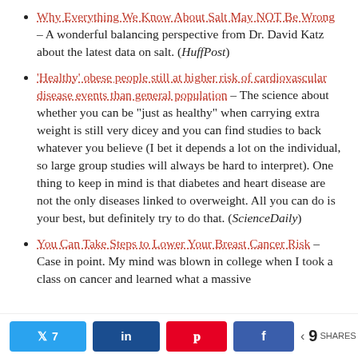Why Everything We Know About Salt May NOT Be Wrong – A wonderful balancing perspective from Dr. David Katz about the latest data on salt. (HuffPost)
'Healthy' obese people still at higher risk of cardiovascular disease events than general population – The science about whether you can be "just as healthy" when carrying extra weight is still very dicey and you can find studies to back whatever you believe (I bet it depends a lot on the individual, so large group studies will always be hard to interpret). One thing to keep in mind is that diabetes and heart disease are not the only diseases linked to overweight. All you can do is your best, but definitely try to do that. (ScienceDaily)
You Can Take Steps to Lower Your Breast Cancer Risk – Case in point. My mind was blown in college when I took a class on cancer and learned what a massive